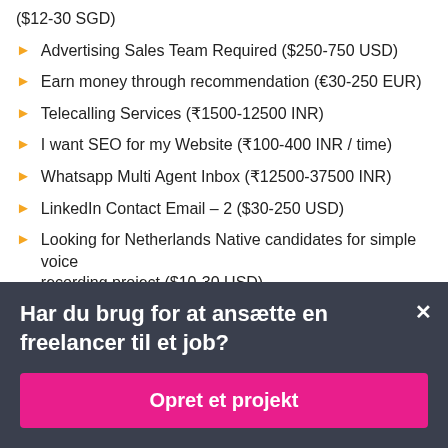($12-30 SGD)
Advertising Sales Team Required ($250-750 USD)
Earn money through recommendation (€30-250 EUR)
Telecalling Services (₹1500-12500 INR)
I want SEO for my Website (₹100-400 INR / time)
Whatsapp Multi Agent Inbox (₹12500-37500 INR)
LinkedIn Contact Email – 2 ($30-250 USD)
Looking for Netherlands Native candidates for simple voice recording project ($10-30 USD)
Har du brug for at ansætte en freelancer til et job?
Opret et projekt